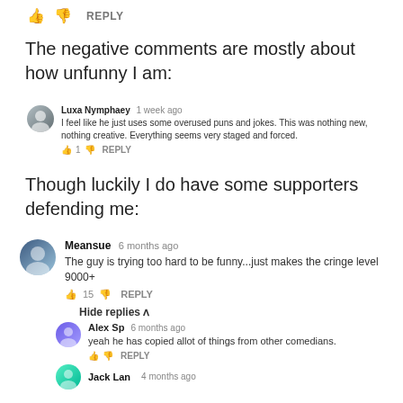👍 👎  REPLY
The negative comments are mostly about how unfunny I am:
Luxa Nymphaey 1 week ago
I feel like he just uses some overused puns and jokes. This was nothing new, nothing creative. Everything seems very staged and forced.
👍 1 👎  REPLY
Though luckily I do have some supporters defending me:
Meansue 6 months ago
The guy is trying too hard to be funny...just makes the cringe level 9000+
👍 15 👎  REPLY
Hide replies ^
Alex Sp 6 months ago
yeah he has copied allot of things from other comedians.
👍 👎  REPLY
Jack Lan 4 months ago